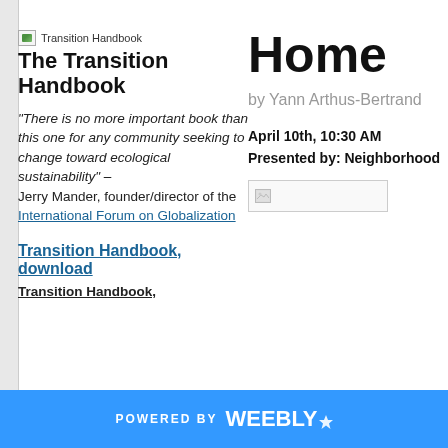Home
by Yann Arthus-Bertrand
April 10th, 10:30 AM
Presented by: Neighborhood
[Figure (illustration): Book cover icon for The Transition Handbook with a small green landscape image]
The Transition Handbook
“There is no more important book than this one for any community seeking to change toward ecological sustainability” – Jerry Mander, founder/director of the International Forum on Globalization
Transition Handbook, download
Transition Handbook,
POWERED BY weebly